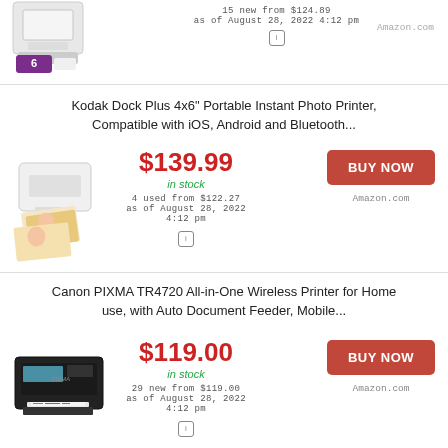[Figure (photo): Partial view of HP printer with purple label showing '6' ink cartridges promotion]
15 new from $124.89
as of August 28, 2022 4:12 pm
Amazon.com
Kodak Dock Plus 4x6" Portable Instant Photo Printer, Compatible with iOS, Android and Bluetooth...
$139.99
in stock
4 used from $122.27
as of August 28, 2022 4:12 pm
BUY NOW
Amazon.com
[Figure (photo): Kodak Dock Plus portable photo printer with printed photos coming out]
Canon PIXMA TR4720 All-in-One Wireless Printer for Home use, with Auto Document Feeder, Mobile...
$119.00
in stock
29 new from $119.00
as of August 28, 2022 4:12 pm
BUY NOW
Amazon.com
[Figure (photo): Canon PIXMA TR4720 all-in-one black wireless printer]